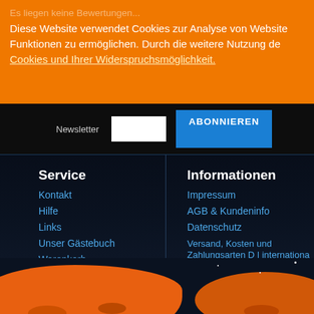Es liegen keine Bewertungen...
Diese Website verwendet Cookies zur Analyse von Websites-Funktionen zu ermöglichen. Durch die weitere Nutzung de...
Cookies und Ihrer Widerspruchsmöglichkeit.
Newsletter [input] ABONNIEREN
Service
Kontakt
Hilfe
Links
Unser Gästebuch
Warenkorb
Konto
Merkzettel
Mein Wunschzettel
Öffentlicher Wunschzettel
Informationen
Impressum
AGB & Kundeninfo
Datenschutz
Versand, Kosten und Zahlungsarten D | international shipping and payment method...
Widerrufsrecht
Bestellinformationen
Newsletter
News